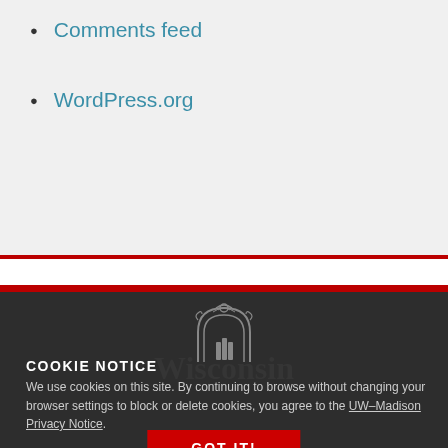Comments feed
WordPress.org
[Figure (logo): UW-Madison crest/arch logo in gray outline on dark background]
COOKIE NOTICE
We use cookies on this site. By continuing to browse without changing your browser settings to block or delete cookies, you agree to the UW–Madison Privacy Notice.
GOT IT!